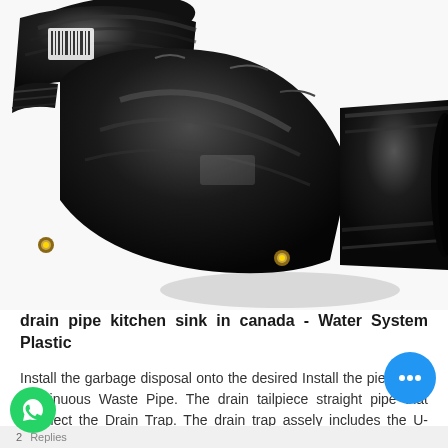[Figure (photo): Black plastic elbow pipe fitting (electrofusion fitting) photographed on white background. The fitting is a 90-degree elbow joint used in water/drain plumbing systems, made of black polyethylene with threaded ends and two copper electrode pins visible.]
drain pipe kitchen sink in canada - Water System Plastic
Install the garbage disposal onto the desired Install the piece and Continuous Waste Pipe. The drain tailpiece straight pipe that Connect the Drain Trap. The drain trap assely includes the U-shaped trap bend and a J